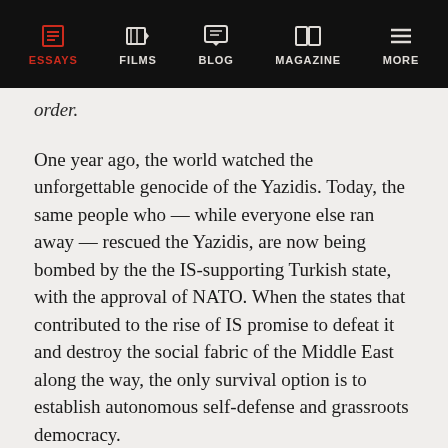ESSAYS | FILMS | BLOG | MAGAZINE | MORE
order.
One year ago, the world watched the unforgettable genocide of the Yazidis. Today, the same people who — while everyone else ran away — rescued the Yazidis, are now being bombed by the the IS-supporting Turkish state, with the approval of NATO. When the states that contributed to the rise of IS promise to defeat it and destroy the social fabric of the Middle East along the way, the only survival option is to establish autonomous self-defense and grassroots democracy.
As one drives through the Shengal Mountains, the most beautiful indicator of the change that hit this wounded place within a year are the children on the streets, who whenever heval — "the comrades" — drive by chant: "Long live Shengal's resistance! Long live the PKK! Long live